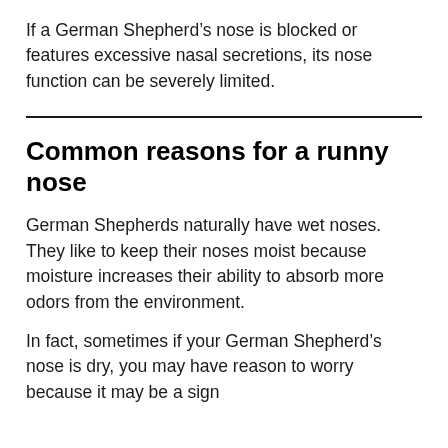If a German Shepherd's nose is blocked or features excessive nasal secretions, its nose function can be severely limited.
Common reasons for a runny nose
German Shepherds naturally have wet noses. They like to keep their noses moist because moisture increases their ability to absorb more odors from the environment.
In fact, sometimes if your German Shepherd's nose is dry, you may have reason to worry because it may be a sign